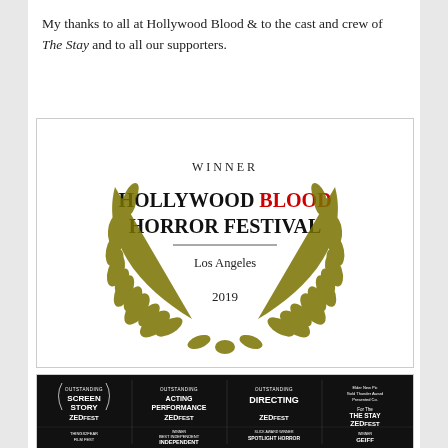My thanks to all at Hollywood Blood & to the cast and crew of The Stay and to all our supporters.
[Figure (illustration): Hollywood Blood Horror Festival Winner laurel wreath award graphic. Text reads: WINNER, HOLLYWOOD BLOOD HORROR FESTIVAL, Los Angeles, 2019. Olive/gold laurel branches frame the text on left and right.]
[Figure (photo): Film festival award laurels on black background. Shows ZedFest awards: Outstanding Screen Story, Outstanding Acting Performance, Outstanding Directing, and another award. Also shows Things2Fear Film Fest laurel, Independent laurel, Spotlight Horror laurel, and GEIFF/CEIFF laurel.]